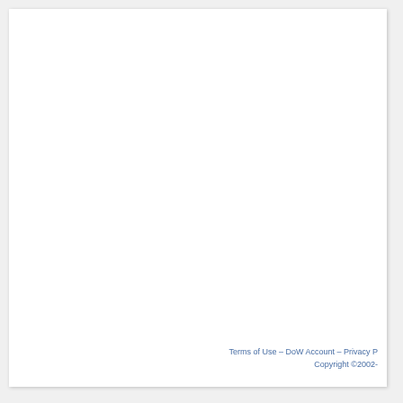Terms of Use – DoW Account – Privacy P... Copyright ©2002-